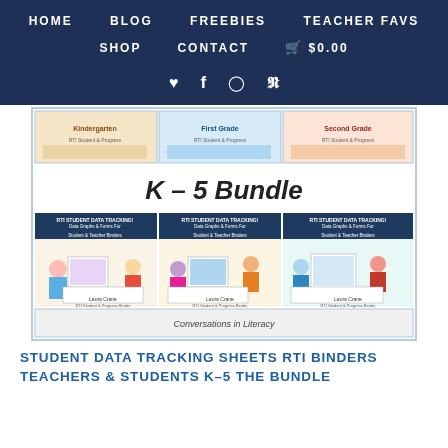HOME  BLOG  FREEBIES  TEACHER FAVS  SHOP  CONTACT  $0.00
[Figure (screenshot): Product thumbnail image for K-5 Bundle of Student Data Tracking Sheets RTI Binders for Teachers & Students, showing a grid of colorful educational materials with cartoon children characters, labeled 'Conversations in Literacy']
STUDENT DATA TRACKING SHEETS RTI BINDERS TEACHERS & STUDENTS K-5 THE BUNDLE